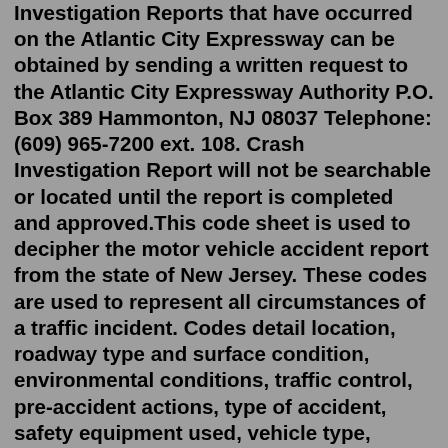Investigation Reports that have occurred on the Atlantic City Expressway can be obtained by sending a written request to the Atlantic City Expressway Authority P.O. Box 389 Hammonton, NJ 08037 Telephone: (609) 965-7200 ext. 108. Crash Investigation Report will not be searchable or located until the report is completed and approved.This code sheet is used to decipher the motor vehicle accident report from the state of New Jersey. These codes are used to represent all circumstances of a traffic incident. Codes detail location, roadway type and surface condition, environmental conditions, traffic control, pre-accident actions, type of accident, safety equipment used, vehicle type, vehicle damage, physical complaints and ...May 12, 2022 · A vehicle crash on Ross Corner Sussex Road in Wantage left one occupant dead Wednesday, according to New Jersey State Police. Police were notified about the crash at 6:27 p.m. and responded to the ... May 08, 2011 · According to the State Police crash report, a man named William Gillespie was behind the wheel of